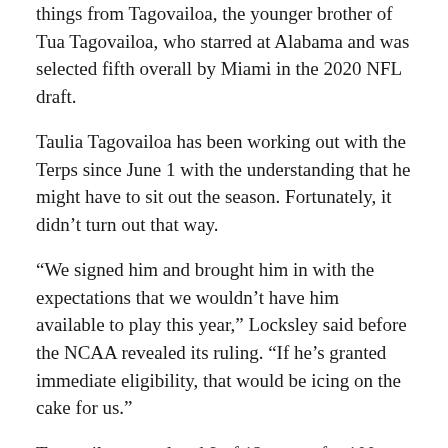things from Tagovailoa, the younger brother of Tua Tagovailoa, who starred at Alabama and was selected fifth overall by Miami in the 2020 NFL draft.
Taulia Tagovailoa has been working out with the Terps since June 1 with the understanding that he might have to sit out the season. Fortunately, it didn't turn out that way.
“We signed him and brought him in with the expectations that we wouldn’t have him available to play this year,” Locksley said before the NCAA revealed its ruling. “If he’s granted immediate eligibility, that would be icing on the cake for us.”
Tagovailoa completed 9 of 12 passes for 100 yards in five games for the Crimson Tide, who went 11-2 and won the Citrus Bowl.
Lance Legendre is the only other Maryland quarterback on scholarship. He played in three games